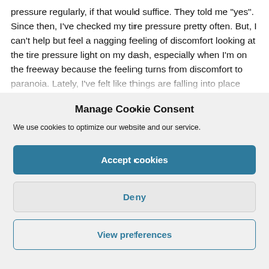pressure regularly, if that would suffice. They told me "yes". Since then, I've checked my tire pressure pretty often. But, I can't help but feel a nagging feeling of discomfort looking at the tire pressure light on my dash, especially when I'm on the freeway because the feeling turns from discomfort to paranoia. Lately, I've felt like things are falling into place finally. Things
Manage Cookie Consent
We use cookies to optimize our website and our service.
Accept cookies
Deny
View preferences